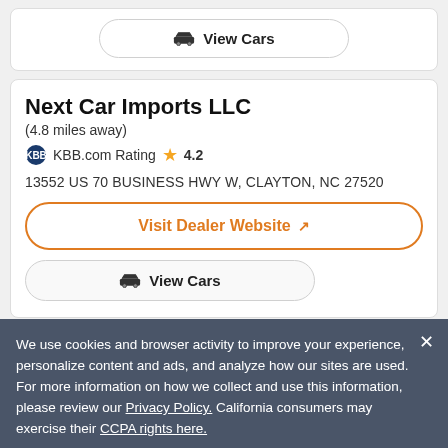[Figure (other): View Cars button with car icon, top card partial]
Next Car Imports LLC
(4.8 miles away)
KBB.com Rating ★ 4.2
13552 US 70 BUSINESS HWY W, CLAYTON, NC 27520
Visit Dealer Website ↗
View Cars
We use cookies and browser activity to improve your experience, personalize content and ads, and analyze how our sites are used. For more information on how we collect and use this information, please review our Privacy Policy. California consumers may exercise their CCPA rights here.